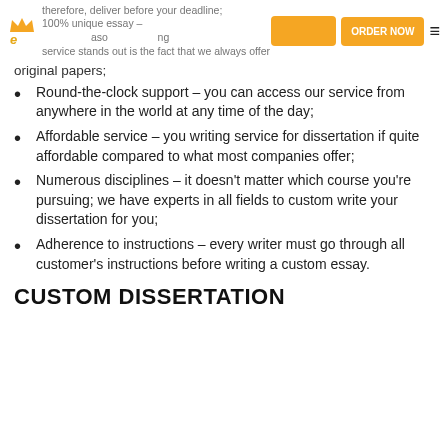therefore, deliver before your deadline; 100% unique essay – our service stands out is the fact that we always offer original papers;
Round-the-clock support – you can access our service from anywhere in the world at any time of the day;
Affordable service – you writing service for dissertation if quite affordable compared to what most companies offer;
Numerous disciplines – it doesn't matter which course you're pursuing; we have experts in all fields to custom write your dissertation for you;
Adherence to instructions – every writer must go through all customer's instructions before writing a custom essay.
CUSTOM DISSERTATION